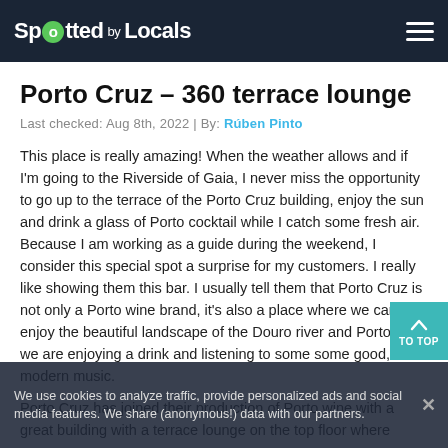Spotted by Locals
Porto Cruz – 360 terrace lounge
Last checked: Aug 8th, 2022 | By: Rúben Pinto
This place is really amazing! When the weather allows and if I'm going to the Riverside of Gaia, I never miss the opportunity to go up to the terrace of the Porto Cruz building, enjoy the sun and drink a glass of Porto cocktail while I catch some fresh air. Because I am working as a guide during the weekend, I consider this special spot a surprise for my customers. I really like showing them this bar. I usually tell them that Porto Cruz is not only a Porto wine brand, it's also a place where we can enjoy the beautiful landscape of the Douro river and Porto while we are enjoying a drink and listening to some some good, modern music.
Porto Cruz has joined their production of Porto wine with a great building with a terrace lounge on the top floor where
We use cookies to analyze traffic, provide personalized ads and social media features. We share (anonymous!) data with our partners.